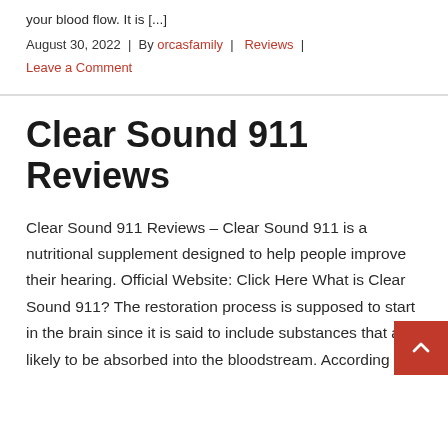your blood flow. It is [...]
August 30, 2022  |  By orcasfamily  |  Reviews  |  Leave a Comment
Clear Sound 911 Reviews
Clear Sound 911 Reviews – Clear Sound 911 is a nutritional supplement designed to help people improve their hearing. Official Website: Click Here What is Clear Sound 911? The restoration process is supposed to start in the brain since it is said to include substances that are likely to be absorbed into the bloodstream. According [...]